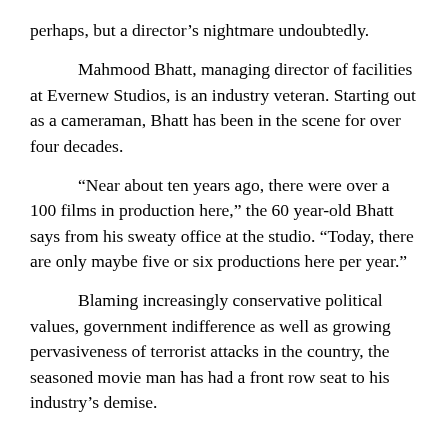perhaps, but a director's nightmare undoubtedly.
Mahmood Bhatt, managing director of facilities at Evernew Studios, is an industry veteran. Starting out as a cameraman, Bhatt has been in the scene for over four decades.
“Near about ten years ago, there were over a 100 films in production here,” the 60 year-old Bhatt says from his sweaty office at the studio. “Today, there are only maybe five or six productions here per year.”
Blaming increasingly conservative political values, government indifference as well as growing pervasiveness of terrorist attacks in the country, the seasoned movie man has had a front row seat to his industry’s demise.